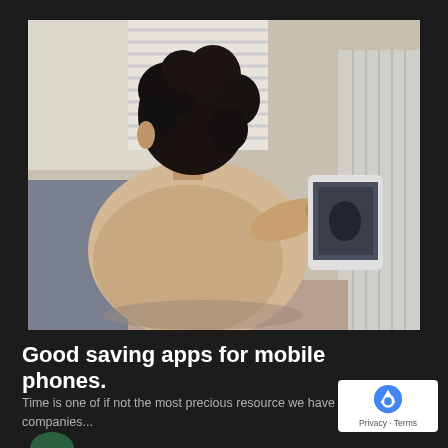[Figure (photo): A person with curly black hair seen from behind, wearing a beige sweater, sitting and looking at a tablet/iPad device. A white radiator and window with blinds are visible in the background.]
Good saving apps for mobile phones.
Time is one of if not the most precious resource we have and companies...